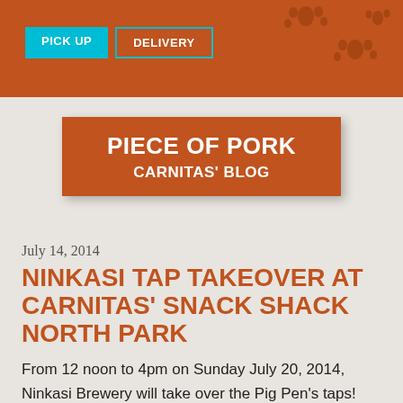PICK UP | DELIVERY
PIECE OF PORK
CARNITAS' BLOG
July 14, 2014
NINKASI TAP TAKEOVER AT CARNITAS' SNACK SHACK NORTH PARK
From 12 noon to 4pm on Sunday July 20, 2014, Ninkasi Brewery will take over the Pig Pen's taps!